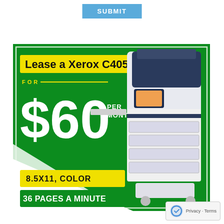SUBMIT
[Figure (infographic): Xerox C405 printer lease advertisement. Green background with yellow banners. Text: Lease a Xerox C405 FOR $60 PER MONTH. 8.5X11, COLOR. 36 PAGES A MINUTE. Image of Xerox C405 multifunction printer on right side.]
Privacy · Terms